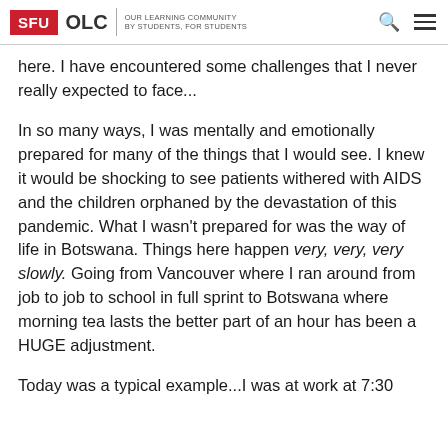SFU OLC | OUR LEARNING COMMUNITY BY STUDENTS, FOR STUDENTS
here. I have encountered some challenges that I never really expected to face...
In so many ways, I was mentally and emotionally prepared for many of the things that I would see. I knew it would be shocking to see patients withered with AIDS and the children orphaned by the devastation of this pandemic. What I wasn't prepared for was the way of life in Botswana. Things here happen very, very, very slowly. Going from Vancouver where I ran around from job to job to school in full sprint to Botswana where morning tea lasts the better part of an hour has been a HUGE adjustment.
Today was a typical example...I was at work at 7:30